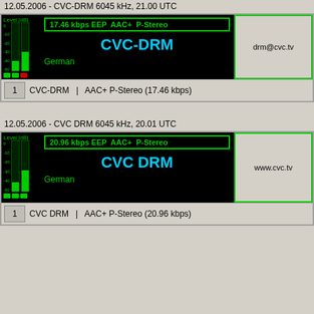12.05.2006 - CVC-DRM 6045 kHz, 21.00 UTC
[Figure (screenshot): DRM receiver software screenshot showing CVC-DRM station at 17.46 kbps EEP AAC+ P-Stereo, German language, email drm@cvc.tv, channel 1 AAC+ P-Stereo 17.46 kbps]
12.05.2006 - CVC DRM 6045 kHz, 20.01 UTC
[Figure (screenshot): DRM receiver software screenshot showing CVC DRM station at 20.96 kbps EEP AAC+ P-Stereo, German language, website www.cvc.tv, channel 1 AAC+ P-Stereo 20.96 kbps]